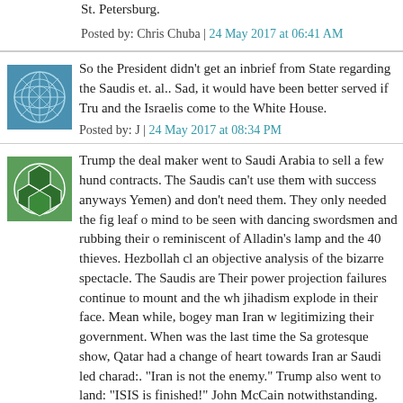St. Petersburg.
Posted by: Chris Chuba | 24 May 2017 at 06:41 AM
[Figure (illustration): Blue abstract web/network pattern avatar icon]
So the President didn't get an inbrief from State regarding the Saudis et. al.. Sad, it would have been better served if Tru and the Israelis come to the White House.
Posted by: J | 24 May 2017 at 08:34 PM
[Figure (illustration): Green soccer ball / hexagon pattern avatar icon]
Trump the deal maker went to Saudi Arabia to sell a few hund contracts. The Saudis can't use them with success anyways Yemen) and don't need them. They only needed the fig leaf o mind to be seen with dancing swordsmen and rubbing their o reminiscent of Alladin's lamp and the 40 thieves. Hezbollah cl an objective analysis of the bizarre spectacle. The Saudis are Their power projection failures continue to mount and the wh jihadism explode in their face. Mean while, bogey man Iran w legitimizing their government. When was the last time the Sa grotesque show, Qatar had a change of heart towards Iran ar Saudi led charad:. "Iran is not the enemy." Trump also went to land: "ISIS is finished!" John McCain notwithstanding. Unders even show up in Riyadh as he knew better. The Kurds are re